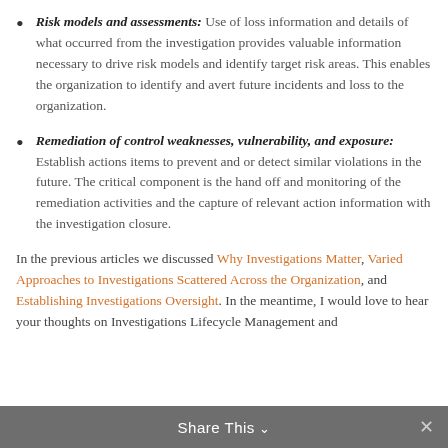Risk models and assessments: Use of loss information and details of what occurred from the investigation provides valuable information necessary to drive risk models and identify target risk areas. This enables the organization to identify and avert future incidents and loss to the organization.
Remediation of control weaknesses, vulnerability, and exposure: Establish actions items to prevent and or detect similar violations in the future. The critical component is the hand off and monitoring of the remediation activities and the capture of relevant action information with the investigation closure.
In the previous articles we discussed Why Investigations Matter, Varied Approaches to Investigations Scattered Across the Organization, and Establishing Investigations Oversight. In the meantime, I would love to hear your thoughts on Investigations Lifecycle Management and